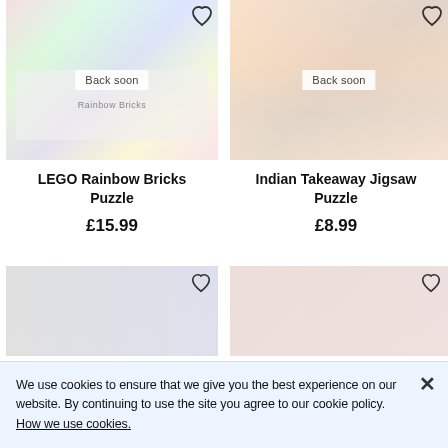[Figure (photo): LEGO Rainbow Bricks Puzzle product image with 'Back soon' overlay and heart/wishlist icon]
[Figure (photo): Indian Takeaway Jigsaw Puzzle product image with 'Back soon' overlay and heart/wishlist icon]
LEGO Rainbow Bricks Puzzle
£15.99
Indian Takeaway Jigsaw Puzzle
£8.99
[Figure (photo): Bottom-left product image (partially visible) with heart/wishlist icon]
[Figure (photo): Bottom-right product image (partially visible) with heart/wishlist icon]
We use cookies to ensure that we give you the best experience on our website. By continuing to use the site you agree to our cookie policy. How we use cookies.